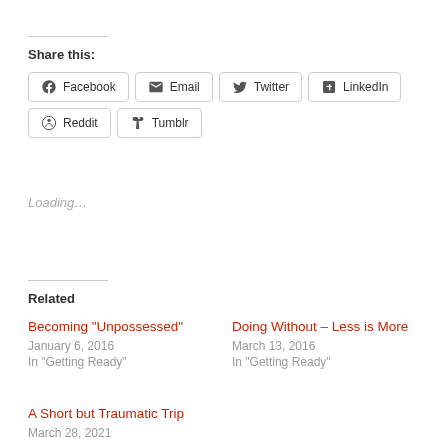Share this:
Facebook
Email
Twitter
LinkedIn
Reddit
Tumblr
Loading...
Related
Becoming “Unpossessed”
January 6, 2016
In “Getting Ready”
Doing Without – Less is More
March 13, 2016
In “Getting Ready”
A Short but Traumatic Trip
March 28, 2021